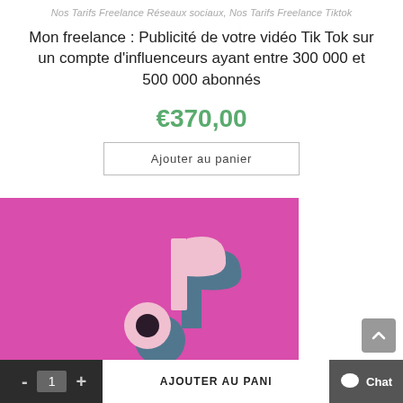Nos Tarifs Freelance Réseaux sociaux, Nos Tarifs Freelance Tiktok
Mon freelance : Publicité de votre vidéo Tik Tok sur un compte d'influenceurs ayant entre 300 000 et 500 000 abonnés
€370,00
Ajouter au panier
[Figure (photo): TikTok logo (musical note icon in white and teal with shadow) on a bright pink/magenta background]
- 1 + AJOUTER AU PANI Chat